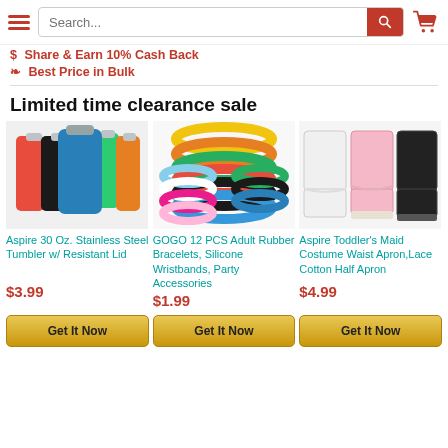Search... [search bar] [cart icon]
$ Share & Earn 10% Cash Back
Best Price in Bulk
Limited time clearance sale
[Figure (photo): Aspire 30 Oz. Stainless Steel Tumbler with Resistant Lid - multiple colors]
Aspire 30 Oz. Stainless Steel Tumbler w/ Resistant Lid
$3.99
[Figure (photo): GOGO 12 PCS Adult Rubber Bracelets Silicone Wristbands in multiple colors]
GOGO 12 PCS Adult Rubber Bracelets, Silicone Wristbands, Party Accessories
$1.99
[Figure (photo): Aspire Toddler's Maid Costume Waist Apron Lace Cotton Half Apron in multiple colors]
Aspire Toddler's Maid Costume Waist Apron,Lace Cotton Half Apron
$4.99